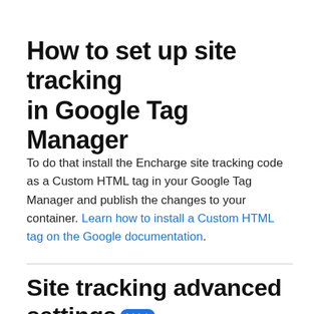How to set up site tracking in Google Tag Manager
To do that install the Encharge site tracking code as a Custom HTML tag in your Google Tag Manager and publish the changes to your container. Learn how to install a Custom HTML tag on the Google documentation.
Site tracking advanced settings